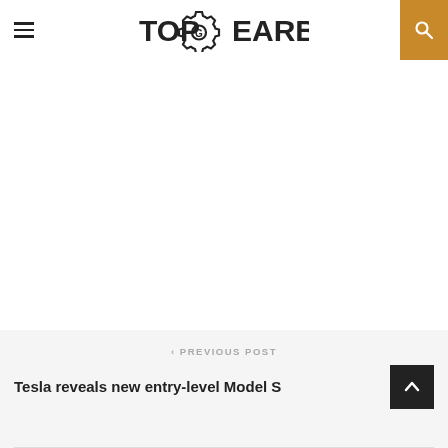TopGearbox
[Figure (other): White advertisement/blank area below header]
< PREVIOUS POST
Tesla reveals new entry-level Model S